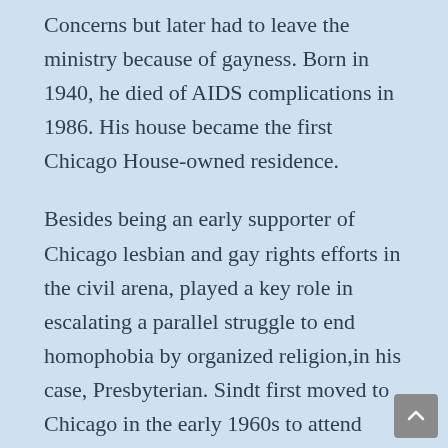Concerns but later had to leave the ministry because of gayness. Born in 1940, he died of AIDS complications in 1986. His house became the first Chicago House-owned residence.
Besides being an early supporter of Chicago lesbian and gay rights efforts in the civil arena, played a key role in escalating a parallel struggle to end homophobia by organized religion,in his case, Presbyterian. Sindt first moved to Chicago in the early 1960s to attend McCormick Theological Seminary. After graduation in 1965, he served with the Erie Chapel Presbyterian Church (formerly in the Ukrainian Village neighborhood), moved to Minneapolis to